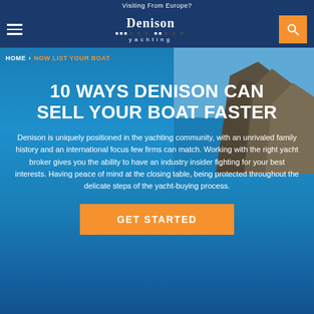Visiting From Europe?
[Figure (screenshot): Denison Yachting navigation bar with hamburger menu, logo, and search button]
[Figure (photo): Aerial view of rocky coastal cliff and blue ocean water]
HOME > NOW LIST YOUR BOAT
10 WAYS DENISON CAN SELL YOUR BOAT FASTER
Denison is uniquely positioned in the yachting community, with an unrivaled family history and an international focus few firms can match. Working with the right yacht broker gives you the ability to have an industry insider fighting for your best interests. Having peace of mind at the closing table, being protected throughout the delicate steps of the yacht-buying process.
GET STARTED